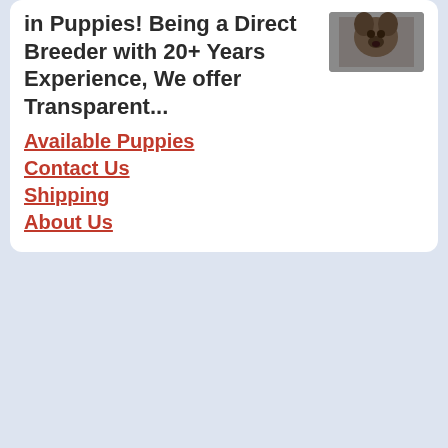in Puppies! Being a Direct Breeder with 20+ Years Experience, We offer Transparent...
Available Puppies
Contact Us
Shipping
About Us
[Figure (photo): Small photo of a puppy or dog, partially visible in top right corner of card]